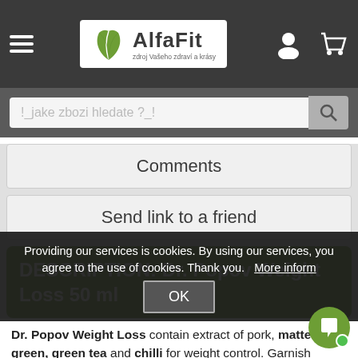AlfaFit — zdroj Vašeho zdraví a krásy
! jake zbozi hledate ?_!
Comments
Send link to a friend
DESCRIPTION: Dr. Popov Weight Loss 50 ml
Dr. Popov Weight Loss contain extract of pork, matte green, green tea and chilli for weight control. Garnish extract helps reduce appetite, and matt helps maintain
Pea is a grass that grows height of 150 cm and occurs along the paths, fields, and river banks in
Providing our services is cookies. By using our services, you agree to the use of cookies. Thank you.   More information
OK